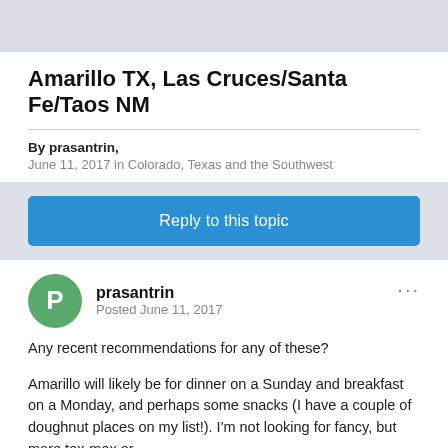Amarillo TX, Las Cruces/Santa Fe/Taos NM
By prasantrin,
June 11, 2017 in Colorado, Texas and the Southwest
Reply to this topic
prasantrin
Posted June 11, 2017
Any recent recommendations for any of these?
Amarillo will likely be for dinner on a Sunday and breakfast on a Monday, and perhaps some snacks (I have a couple of doughnut places on my list!). I'm not looking for fancy, but more tex-mex or